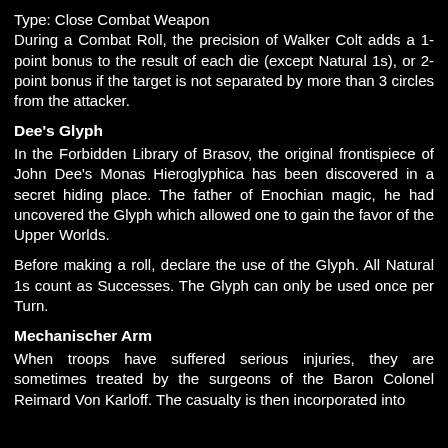Type: Close Combat Weapon
During a Combat Roll, the precision of Walker Colt adds a 1-point bonus to the result of each die (except Natural 1s), or 2-point bonus if the target is not separated by more than 3 circles from the attacker.
Dee's Glyph
In the Forbidden Library of Brasov, the original frontispiece of John Dee's Monas Hieroglyphica has been discovered in a secret hiding place. The father of Enochian magic, he had uncovered the Glyph which allowed one to gain the favor of the Upper Worlds.
Before making a roll, declare the use of the Glyph. All Natural 1s count as Successes. The Glyph can only be used once per Turn.
Mechanischer Arm
When troops have suffered serious injuries, they are sometimes treated by the surgeons of the Baron Colonel Reimard Von Karloff. The casualty is then incorporated into the mechanical...